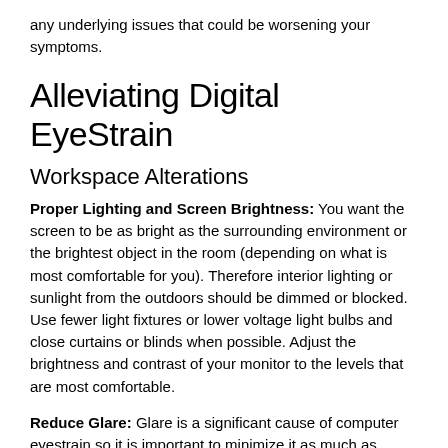any underlying issues that could be worsening your symptoms.
Alleviating Digital EyeStrain
Workspace Alterations
Proper Lighting and Screen Brightness: You want the screen to be as bright as the surrounding environment or the brightest object in the room (depending on what is most comfortable for you). Therefore interior lighting or sunlight from the outdoors should be dimmed or blocked. Use fewer light fixtures or lower voltage light bulbs and close curtains or blinds when possible. Adjust the brightness and contrast of your monitor to the levels that are most comfortable.
Reduce Glare: Glare is a significant cause of computer eyestrain so it is important to minimize it as much as possible. Set up your computer where glare from windows won't affect your screen or cover windows when this is not possible. Glare can also reflect from walls and shiny finishes on desks and other surfaces. An anti-glare screen on your monitor or an anti-reflective (AR) or